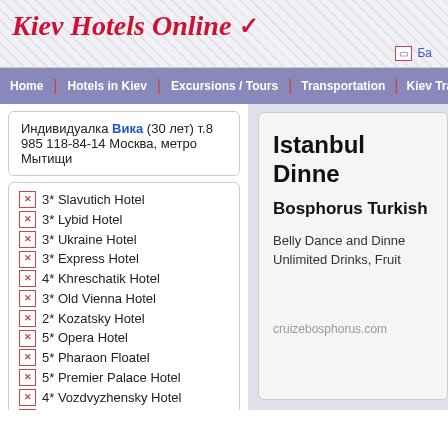Kiev Hotels Online ✓
Ба (icon + text, top right)
Home | Hotels in Kiev | Excursions / Tours | Transportation | Kiev Travel Guide | N
Индивидуалка Вика (30 лет) т.8 985 118-84-14 Москва, метро Мытищи
3* Slavutich Hotel
3* Lybid Hotel
3* Ukraine Hotel
3* Express Hotel
4* Khreschatik Hotel
3* Old Vienna Hotel
2* Kozatsky Hotel
5* Opera Hotel
5* Pharaon Floatel
5* Premier Palace Hotel
4* Vozdvyzhensky Hotel
4* Senator's Park Hotel
4* Dniprovskiy Hotel
4* Hotel Gintama
4* Diarso Hotel
Istanbul Dinne
Bosphorus Turkish
Belly Dance and Dinne
Unlimited Drinks, Fruit
cruizebosphorus.com